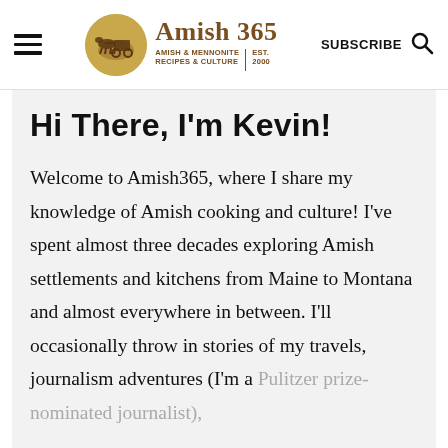[Figure (logo): Amish 365 website header with hamburger menu, circular logo with horse-drawn buggy, site name 'Amish 365', tagline 'Amish & Mennonite Recipes & Culture | Est. 2000', SUBSCRIBE button, and search icon]
Hi There, I'm Kevin!
Welcome to Amish365, where I share my knowledge of Amish cooking and culture! I've spent almost three decades exploring Amish settlements and kitchens from Maine to Montana and almost everywhere in between. I'll occasionally throw in stories of my travels, journalism adventures (I'm a Pulitzer prize-nominated journalist), fascination with...